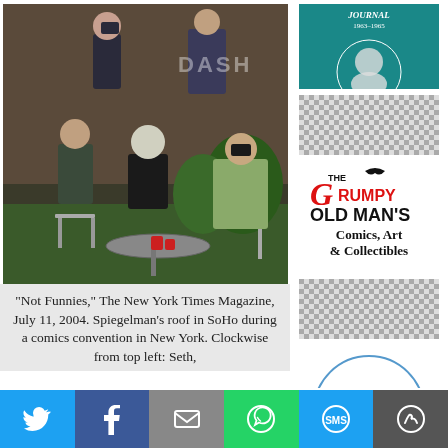[Figure (photo): Group photo of five men on a rooftop. From top left clockwise: Seth, and others, seated and standing around a small round table outdoors.]
“Not Funnies,” The New York Times Magazine, July 11, 2004. Spiegelman’s roof in SoHo during a comics convention in New York. Clockwise from top left: Seth,
[Figure (other): Book cover with teal background showing a portrait illustration and text 'JOURNAL 1963-1965', with author names including Thomas Malory, George Peele, Edmund, Plato, Dante Alighieri, Geoffrey, Homer, Sappho, Euripides, Aristotle]
[Figure (other): Checkerboard/placeholder image pattern]
[Figure (logo): The Grumpy Old Man's Comics, Art & Collectibles logo]
[Figure (other): Checkerboard/placeholder image pattern]
[Figure (infographic): Featured On badge - circular blue badge with text FEATURED ON]
Twitter | Facebook | Email | WhatsApp | SMS | More sharing options